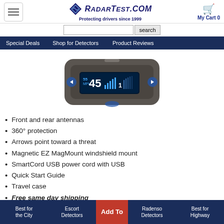RadarTest.com — Protecting drivers since 1999 | My Cart 0
[Figure (screenshot): Search bar with text input and search button]
Special Deals | Shop for Detectors | Product Reviews
[Figure (photo): Radar detector device showing front display with speed 55 MPH and 45 on blue OLED screen with signal strength bars]
Front and rear antennas
360° protection
Arrows point toward a threat
Magnetic EZ MagMount windshield mount
SmartCord USB power cord with USB
Quick Start Guide
Travel case
Free same day shipping
Best for the City | Escort Detectors | Add To [Cart] | Radenso Detectors | Best for Highway